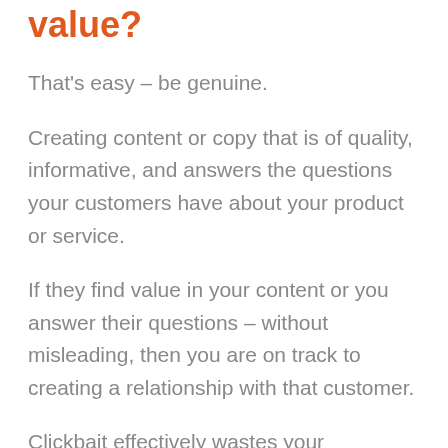value?
That's easy – be genuine.
Creating content or copy that is of quality, informative, and answers the questions your customers have about your product or service.
If they find value in your content or you answer their questions – without misleading, then you are on track to creating a relationship with that customer.
Clickbait effectively wastes your customer's time. They've clicked on your content because you're offering something and if you don't deliver you can say goodbye to a potential customer